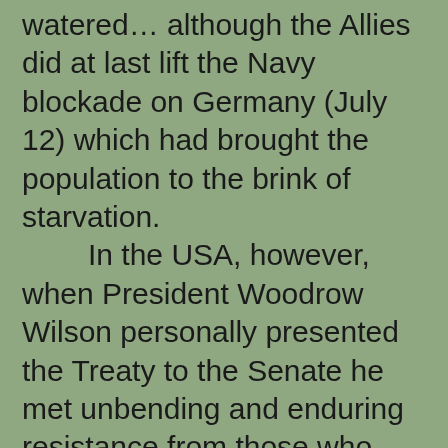watered… although the Allies did at last lift the Navy blockade on Germany (July 12) which had brought the population to the brink of starvation.
    In the USA, however, when President Woodrow Wilson personally presented the Treaty to the Senate he met unbending and enduring resistance from those who opposed the Treaty entirely and others who wanted amendments. His pet Treaty project, the League Of Nations did become reality six months later, but his own country never joined it…
    Elsewhere, the Greco-Turkish War